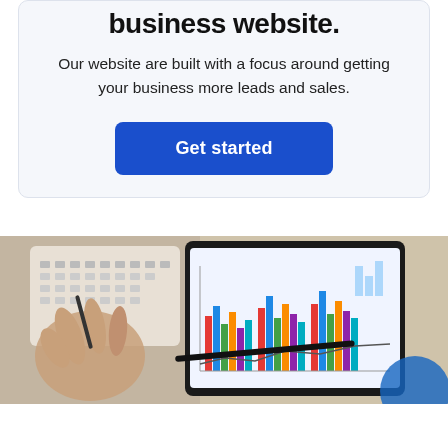business website.
Our website are built with a focus around getting your business more leads and sales.
Get started
[Figure (photo): Person using a calculator next to a tablet displaying colorful bar charts and financial graphs on a desk]